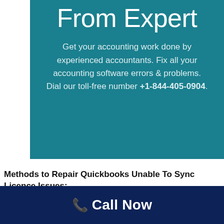From Expert
Get your accounting work done by experienced accountants. Fix all your accounting software errors & problems. Dial our toll-free number +1-844-405-0904.
Methods to Repair Quickbooks Unable To Sync Licence Issues:
📞 Call Now